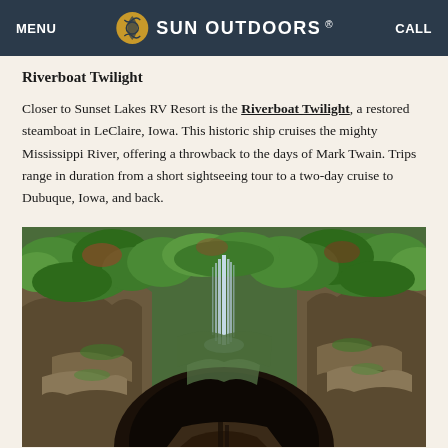MENU | SUN OUTDOORS | CALL
Riverboat Twilight
Closer to Sunset Lakes RV Resort is the Riverboat Twilight, a restored steamboat in LeClaire, Iowa. This historic ship cruises the mighty Mississippi River, offering a throwback to the days of Mark Twain. Trips range in duration from a short sightseeing tour to a two-day cruise to Dubuque, Iowa, and back.
[Figure (photo): A cave entrance with a waterfall cascading down through lush green ferns and moss-covered rocks, with a dark cave opening visible below.]